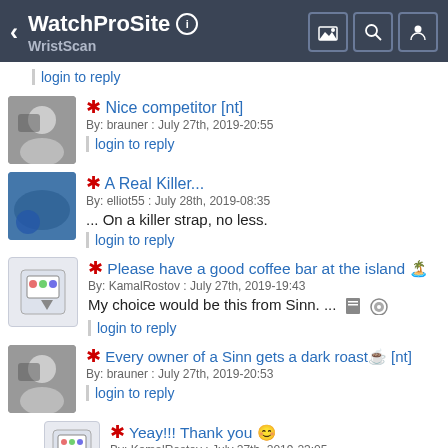WatchProSite / WristScan
login to reply
* Nice competitor [nt]
By: brauner : July 27th, 2019-20:55
login to reply
* A Real Killer...
By: elliot55 : July 28th, 2019-08:35
... On a killer strap, no less.
login to reply
* Please have a good coffee bar at the island
By: KamalRostov : July 27th, 2019-19:43
My choice would be this from Sinn. ...
login to reply
* Every owner of a Sinn gets a dark roast [nt]
By: brauner : July 27th, 2019-20:53
login to reply
* Yeay!!! Thank you
By: KamalRostov : July 27th, 2019-23:05